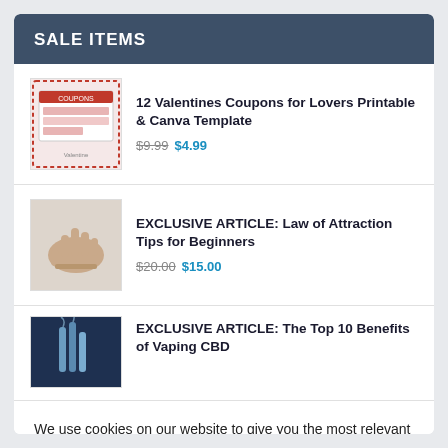SALE ITEMS
12 Valentines Coupons for Lovers Printable & Canva Template $9.99 $4.99
EXCLUSIVE ARTICLE: Law of Attraction Tips for Beginners $20.00 $15.00
EXCLUSIVE ARTICLE: The Top 10 Benefits of Vaping CBD
We use cookies on our website to give you the most relevant experience by remembering your preferences and repeat visits. By clicking “Accept”, you consent to the use of ALL the cookies.
Cookie settings  ACCEPT